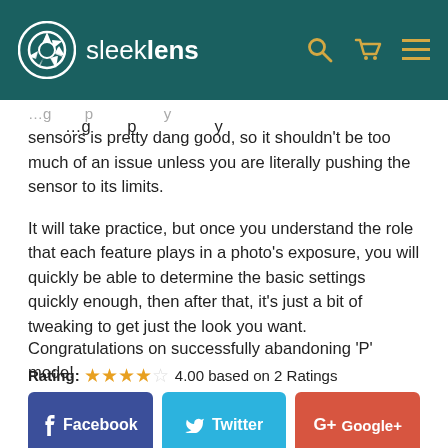sleeklens
sensors is pretty dang good, so it shouldn't be too much of an issue unless you are literally pushing the sensor to its limits.
It will take practice, but once you understand the role that each feature plays in a photo's exposure, you will quickly be able to determine the basic settings quickly enough, then after that, it's just a bit of tweaking to get just the look you want.
Congratulations on successfully abandoning 'P' mode!
Rating: 4.00 based on 2 Ratings
[Figure (infographic): Social sharing buttons: Facebook (dark blue), Twitter (cyan), Google+ (red-orange), Pinterest (red), LinkedIn (cyan)]